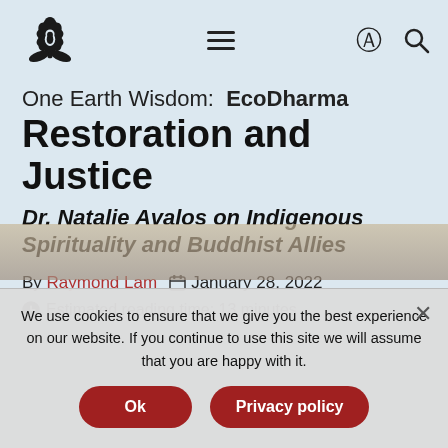EcoDharma logo, hamburger menu, account icon, search icon
One Earth Wisdom: EcoDharma Restoration and Justice
Dr. Natalie Avalos on Indigenous Spirituality and Buddhist Allies
By Raymond Lam   January 28, 2022
Estimated reading time: 13 minutes
[Figure (photo): Partial background image visible behind cookie banner]
We use cookies to ensure that we give you the best experience on our website. If you continue to use this site we will assume that you are happy with it.